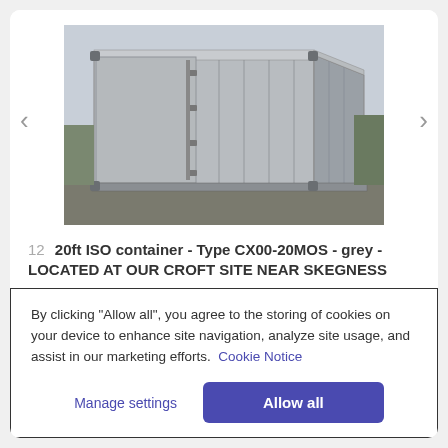[Figure (photo): Photograph of a grey 20ft ISO shipping container, viewed from the front-left corner, parked on a gravel/tarmac surface outdoors.]
12  20ft ISO container - Type CX00-20MOS - grey - LOCATED AT OUR CROFT SITE NEAR SKEGNESS
Lot closed
Location: Skegness, Lincolnshire
By clicking "Allow all", you agree to the storing of cookies on your device to enhance site navigation, analyze site usage, and assist in our marketing efforts.  Cookie Notice
Manage settings
Allow all